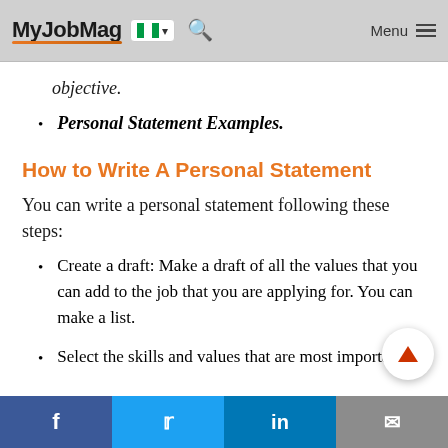MyJobMag [Nigeria flag] [Search] Menu
objective.
Personal Statement Examples.
How to Write A Personal Statement
You can write a personal statement following these steps:
Create a draft: Make a draft of all the values that you can add to the job that you are applying for. You can make a list.
Select the skills and values that are most important to
Facebook  Twitter  LinkedIn  Email